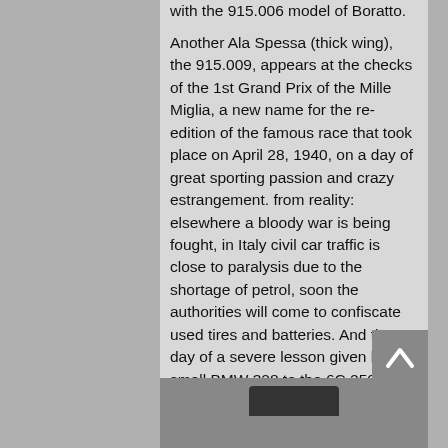with the 915.006 model of Boratto. Another Ala Spessa (thick wing), the 915.009, appears at the checks of the 1st Grand Prix of the Mille Miglia, a new name for the re-edition of the famous race that took place on April 28, 1940, on a day of great sporting passion and crazy estrangement. from reality: elsewhere a bloody war is being fought, in Italy civil car traffic is close to paralysis due to the shortage of petrol, soon the authorities will come to confiscate used tires and batteries. And the day of a severe lesson given by the small BMW 328 to the 6C 2500 SS specially prepared with new lightweight Touring bodies and entrusted to the best axles of the Portellos, to which count Carlo Felice (Didi) Trossi, who replaces Boratto, has joined. detained in Rome from the precipitate of events, driving the only example of aerodynamic berlinetta.